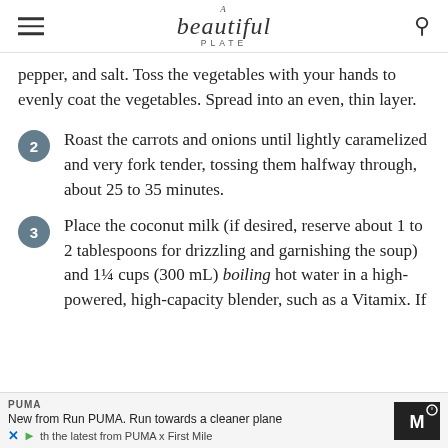A beautiful PLATE
pepper, and salt. Toss the vegetables with your hands to evenly coat the vegetables. Spread into an even, thin layer.
2 Roast the carrots and onions until lightly caramelized and very fork tender, tossing them halfway through, about 25 to 35 minutes.
3 Place the coconut milk (if desired, reserve about 1 to 2 tablespoons for drizzling and garnishing the soup) and 1¼ cups (300 mL) boiling hot water in a high-powered, high-capacity blender, such as a Vitamix. If
PUMA New from Run PUMA. Run towards a cleaner plane th the latest from PUMA x First Mile